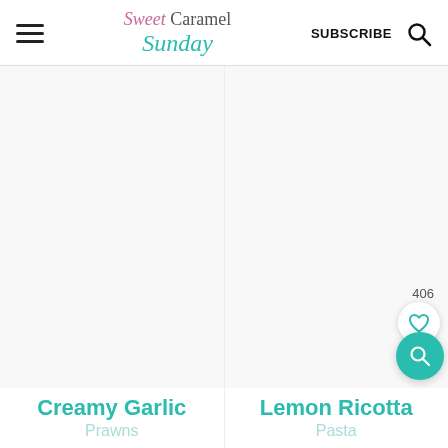Sweet Caramel Sunday | SUBSCRIBE
Creamy Garlic
Prawns
Lemon Ricotta
Pasta
406